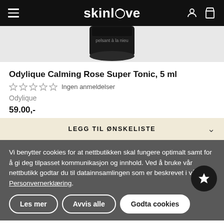skinlove
[Figure (photo): Product photo of Odylique Calming Rose Super Tonic in a dark/black container, partially cropped, viewed from above.]
Odylique Calming Rose Super Tonic, 5 ml
☆☆☆☆☆ Ingen anmeldelser
Odylique
59.00,-
LEGG TIL ØNSKELISTE
Vi benytter cookies for at nettbutikken skal fungere optimalt samt for å gi deg tilpasset kommunikasjon og innhold. Ved å bruke vår nettbutikk godtar du til datainnsamlingen som er beskrevet i vår Personvernerklæring.
Les mer
Avvis alle
Godta cookies